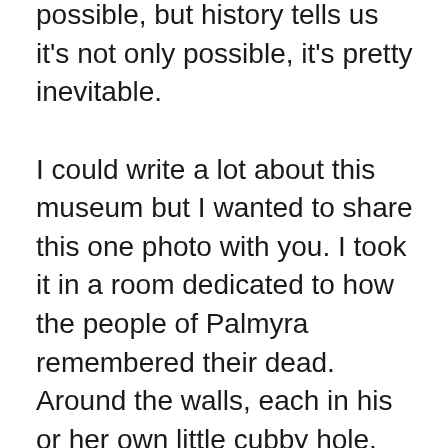possible, but history tells us it's not only possible, it's pretty inevitable.

I could write a lot about this museum but I wanted to share this one photo with you. I took it in a room dedicated to how the people of Palmyra remembered their dead. Around the walls, each in his or her own little cubby hole, there is a bust or a carving representing someone who died. My first thought was, how wonderful to be able to look at these likenesses, to be able to see the faces of these people who once lived on this planet. How much more is added to the commemoration of their lives by these sculptures? I'm used to seeing gravestones with simple inscriptions – the person's name, their dates of birth and death, maybe their age at death, and maybe, just sometimes a reference to their work, or their position in a family. But imagine seeing their likeness too? I know in